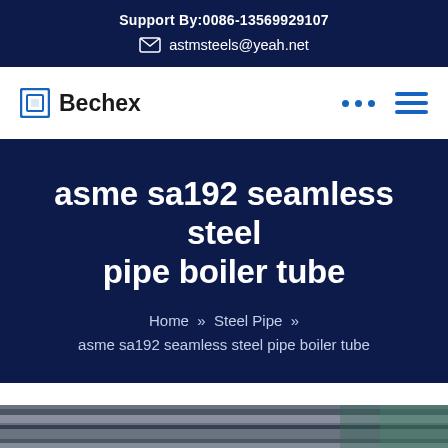Support By:0086-13569929107
astmsteels@yeah.net
Bechex
asme sa192 seamless steel pipe boiler tube
Home » Steel Pipe » asme sa192 seamless steel pipe boiler tube
[Figure (photo): Photo of steel pipes/tubes, partially visible at bottom of page]